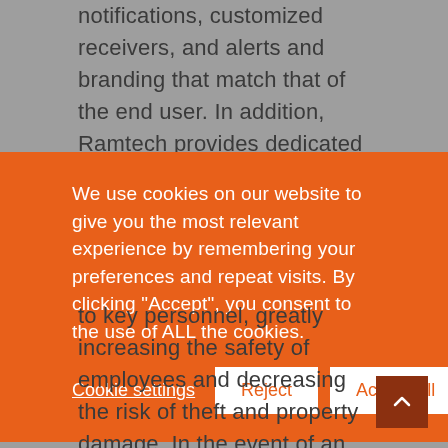notifications, customized receivers, and alerts and branding that match that of the end user. In addition, Ramtech provides dedicated experts to make sure the system is fully optimized along with guidebooks, how-to videos, and technical
[Figure (screenshot): Cookie consent banner with orange background. Text: 'We use cookies on our website to give you the most relevant experience by remembering your preferences and repeat visits. By clicking "Accept", you consent to the use of ALL the cookies.' Buttons: 'Cookie settings' (underlined text link), 'Reject' (white button), 'Accept All' (white button).]
to key personnel, greatly increasing the safety of employees and decreasing the risk of theft and property damage. In the event of an emergency, WES3 and REACT can increase the speed at which the scene is reached by emergency